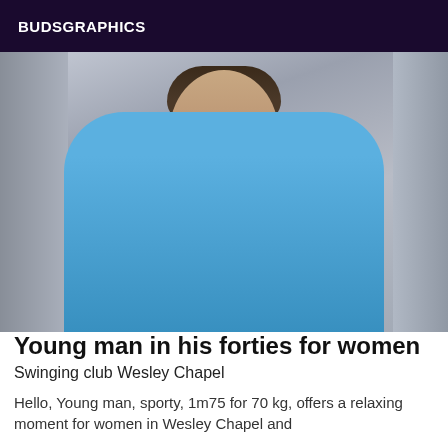BUDSGRAPHICS
[Figure (photo): A man in his forties wearing a light blue Lacoste polo shirt, taking a selfie in what appears to be an elevator or mirrored space. He has short dark hair and a beard stubble.]
Young man in his forties for women
Swinging club Wesley Chapel
Hello, Young man, sporty, 1m75 for 70 kg, offers a relaxing moment for women in Wesley Chapel and